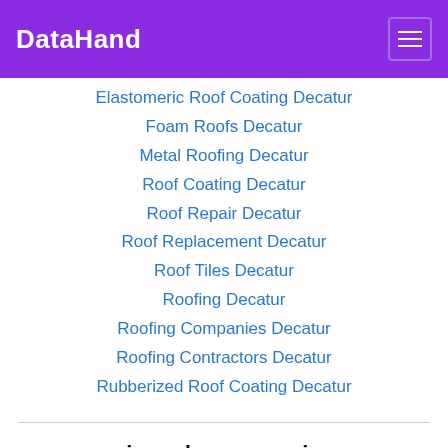DataHand
Elastomeric Roof Coating Decatur
Foam Roofs Decatur
Metal Roofing Decatur
Roof Coating Decatur
Roof Repair Decatur
Roof Replacement Decatur
Roof Tiles Decatur
Roofing Decatur
Roofing Companies Decatur
Roofing Contractors Decatur
Rubberized Roof Coating Decatur
zip codes we service
35601, 35673, 35671